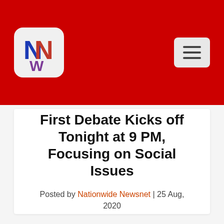[Figure (logo): Nationwide Newsnet logo — letters NNW in blue and purple on a light grey rounded square background, set against a red header bar. A hamburger menu icon appears on the right side of the red header.]
First Debate Kicks off Tonight at 9 PM, Focusing on Social Issues
Posted by Nationwide Newsnet | 25 Aug, 2020